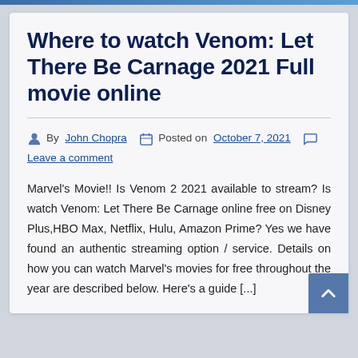Where to watch Venom: Let There Be Carnage 2021 Full movie online
By John Chopra   Posted on October 7, 2021   Leave a comment
Marvel's Movie!! Is Venom 2 2021 available to stream? Is watch Venom: Let There Be Carnage online free on Disney Plus,HBO Max, Netflix, Hulu, Amazon Prime? Yes we have found an authentic streaming option / service. Details on how you can watch Marvel's movies for free throughout the year are described below. Here's a guide [...]